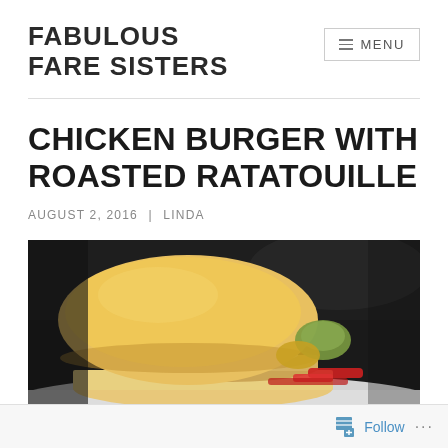FABULOUS FARE SISTERS
CHICKEN BURGER WITH ROASTED RATATOUILLE
AUGUST 2, 2016 | LINDA
[Figure (photo): A chicken burger with roasted ratatouille vegetables on a white plate, close-up dark background]
Follow ...